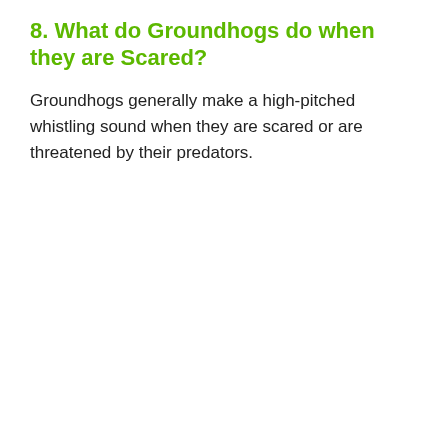8. What do Groundhogs do when they are Scared?
Groundhogs generally make a high-pitched whistling sound when they are scared or are threatened by their predators.